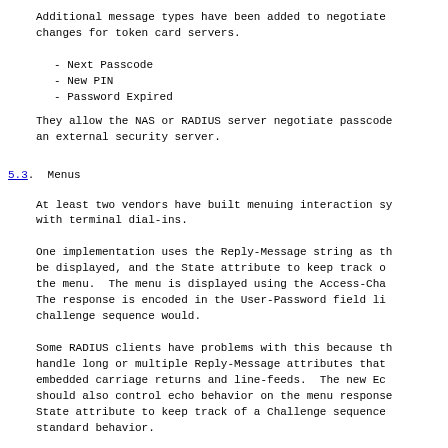Additional message types have been added to negotiate
changes for token card servers.
- Next Passcode
- New PIN
- Password Expired
They allow the NAS or RADIUS server negotiate passcode
an external security server.
5.3.  Menus
At least two vendors have built menuing interaction sy
with terminal dial-ins.
One implementation uses the Reply-Message string as th
be displayed, and the State attribute to keep track of
the menu.  The menu is displayed using the Access-Cha
The response is encoded in the User-Password field li
challenge sequence would.
Some RADIUS clients have problems with this because th
handle long or multiple Reply-Message attributes that
embedded carriage returns and line-feeds.  The new Ec
should also control echo behavior on the menu response
State attribute to keep track of a Challenge sequence
standard behavior.
Another implementation uses two vendor attributes (VSA
VSA-Menu-Selector as well as VSA-Third-Prompt) to ser